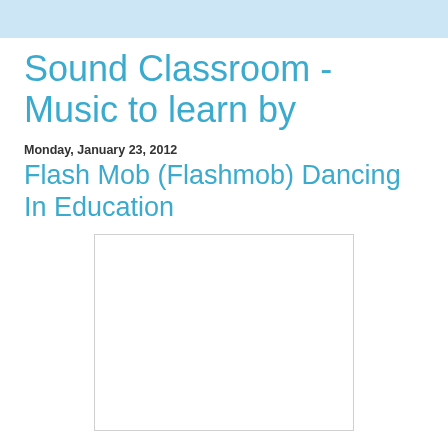Sound Classroom - Music to learn by
Monday, January 23, 2012
Flash Mob (Flashmob) Dancing In Education
[Figure (photo): Blank white image placeholder with light gray border]
There is a phenomenon around the world called the “flash mob”. The first one I saw was a few years ago done in a